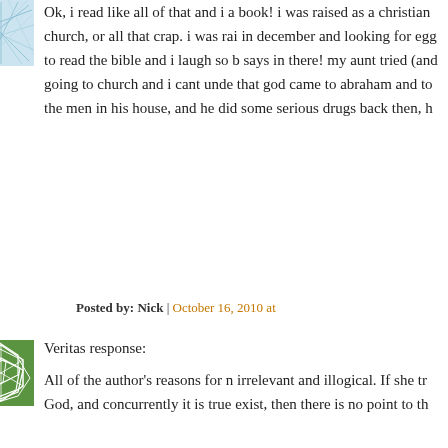[Figure (illustration): Blue-tinted abstract network/lines avatar image for user Nick]
Ok, i read like all of that and i a book! i was raised as a christian church, or all that crap. i was rai in december and looking for egg to read the bible and i laugh so b says in there! my aunt tried (and going to church and i cant unde that god came to abraham and to the men in his house, and he did some serious drugs back then, h
Posted by: Nick | October 16, 2010 at
[Figure (illustration): Green geometric polygon pattern avatar image for Veritas]
Veritas response:
All of the author's reasons for n irrelevant and illogical. If she tr God, and concurrently it is true exist, then there is no point to th